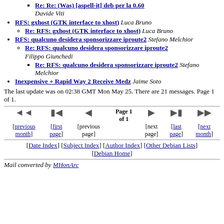Re: Re: (Was) [aspell-it] deb per la 0.60 Davide Viti
RFS: gxhost (GTK interface to xhost) Luca Bruno
Re: RFS: gxhost (GTK interface to xhost) Luca Bruno
RFS: qualcuno desidera sponsorizzare iproute2 Stefano Melchior
Re: RFS: qualcuno desidera sponsorizzare iproute2 Filippo Giunchedi
Re: RFS: qualcuno desidera sponsorizzare iproute2 Stefano Melchior
Inexpensive + Rapid Way 2 Receive Medz Jaime Soto
The last update was on 02:38 GMT Mon May 25. There are 21 messages. Page 1 of 1.
Navigation: previous month, first page, previous page, Page 1 of 1, next page, last page, next month
[Date Index] [Subject Index] [Author Index] [Other Debian Lists] [Debian Home]
Mail converted by MHonArc